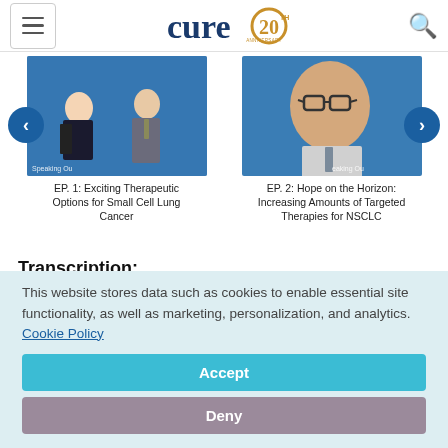cure 20th anniversary
[Figure (screenshot): Carousel showing two video thumbnails: EP. 1 with two people seated in a TV studio setting, and EP. 2 with a man in glasses speaking. Navigation arrows on left and right. EP. 1: Exciting Therapeutic Options for Small Cell Lung Cancer. EP. 2: Hope on the Horizon: Increasing Amounts of Targeted Therapies for NSCLC.]
EP. 1: Exciting Therapeutic Options for Small Cell Lung Cancer
EP. 2: Hope on the Horizon: Increasing Amounts of Targeted Therapies for NSCLC
Transcription:
This website stores data such as cookies to enable essential site functionality, as well as marketing, personalization, and analytics. Cookie Policy
Accept
Deny